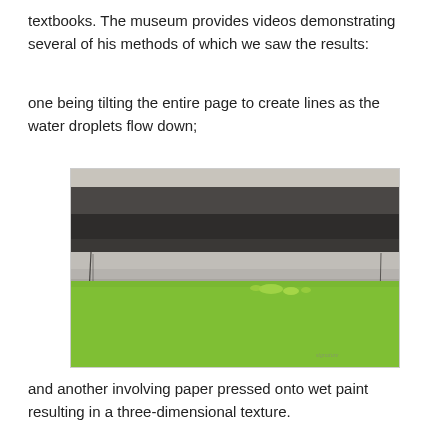textbooks. The museum provides videos demonstrating several of his methods of which we saw the results:
one being tilting the entire page to create lines as the water droplets flow down;
[Figure (photo): A watercolor painting showing dark grey horizontal bands at the top fading into a lighter grey middle section, with vivid green at the bottom, demonstrating the tilting technique where water droplets flow down to create lines.]
and another involving paper pressed onto wet paint resulting in a three-dimensional texture.